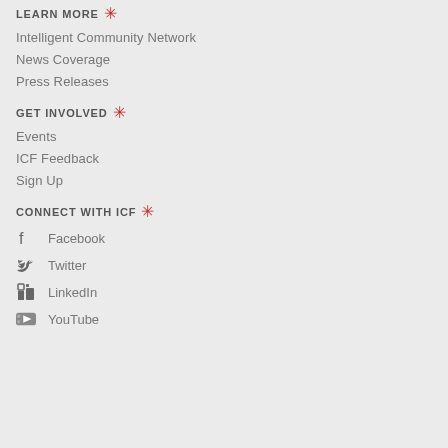LEARN MORE
Intelligent Community Network
News Coverage
Press Releases
GET INVOLVED
Events
ICF Feedback
Sign Up
CONNECT WITH ICF
Facebook
Twitter
LinkedIn
YouTube